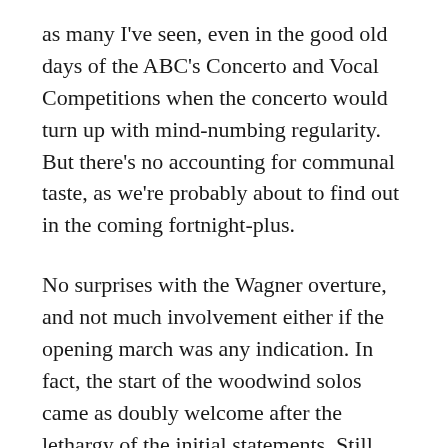as many I've seen, even in the good old days of the ABC's Concerto and Vocal Competitions when the concerto would turn up with mind-numbing regularity. But there's no accounting for communal taste, as we're probably about to find out in the coming fortnight-plus.
No surprises with the Wagner overture, and not much involvement either if the opening march was any indication. In fact, the start of the woodwind solos came as doubly welcome after the lethargy of the initial statements. Still, the Tchaikovsky strings gave a fair account of the Preislied-in-four-beats section, the whole exercise not similarly settled when the great moment arrives as Wagner juggles his three